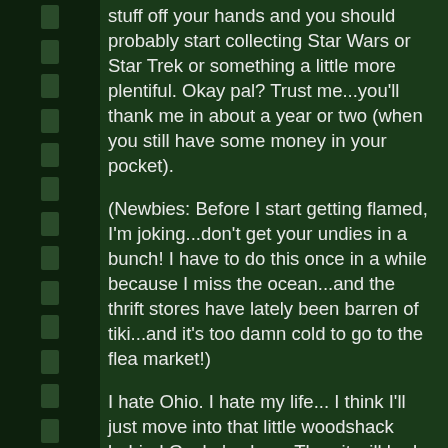stuff off your hands and you should probably start collecting Star Wars or Star Trek or something a little more plentiful. Okay pal? Trust me...you'll thank me in about a year or two (when you still have some money in your pocket).
(Newbies: Before I start getting flamed, I'm joking...don't get your undies in a bunch! I have to do this once in a while because I miss the ocean...and the thrift stores have lately been barren of tiki...and it's too damn cold to go to the flea market!)
I hate Ohio. I hate my life... I think I'll just move into that little woodshack behind Gecko's place. Then it will be I who has the last laugh!
(evil laugh) Ha ha...HA-HA-HAAA! H-A-A-A! HA! :evil: